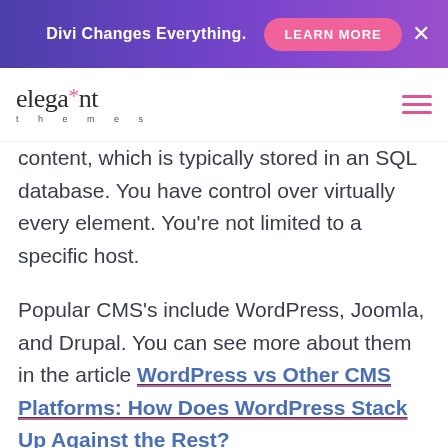Divi Changes Everything. LEARN MORE ×
[Figure (logo): Elegant Themes logo with asterisk and hamburger menu icon]
content, which is typically stored in an SQL database. You have control over virtually every element. You're not limited to a specific host.
Popular CMS's include WordPress, Joomla, and Drupal. You can see more about them in the article WordPress vs Other CMS Platforms: How Does WordPress Stack Up Against the Rest?